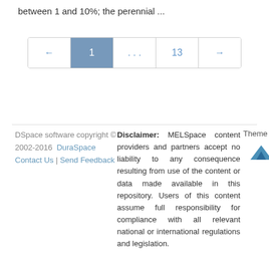between 1 and 10%; the perennial ...
DSpace software copyright © 2002-2016 DuraSpace Contact Us | Send Feedback
Disclaimer: MELSpace content providers and partners accept no liability to any consequence resulting from use of the content or data made available in this repository. Users of this content assume full responsibility for compliance with all relevant national or international regulations and legislation.
[Figure (logo): Atmire logo with text ATMIRE and a blue mountain triangle icon]
Theme by